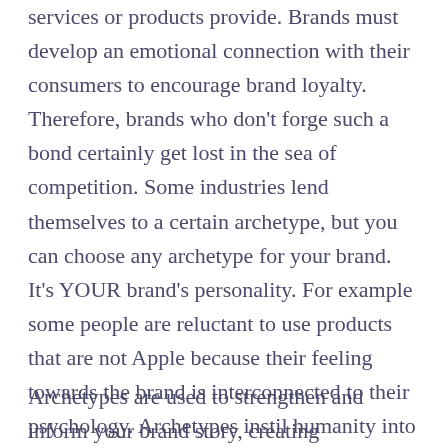services or products provide. Brands must develop an emotional connection with their consumers to encourage brand loyalty. Therefore, brands who don't forge such a bond certainly get lost in the sea of competition. Some industries lend themselves to a certain archetype, but you can choose any archetype for your brand. It's YOUR brand's personality. For example some people are reluctant to use products that are not Apple because their feeling towards the brand is interconnected to their psychology. Archetypes instil humanity into your mission, vision and values.
Archetypes are used to strengthen and inform your brand story, creating differentiation against your